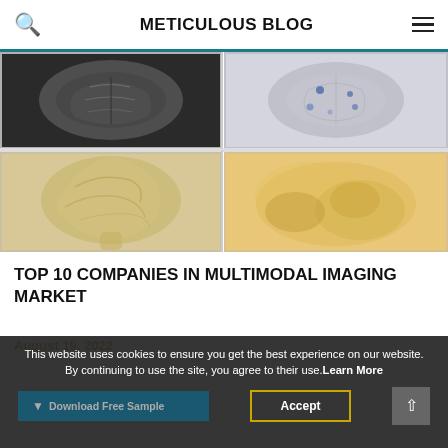METICULOUS BLOG
[Figure (photo): Grid of four medical brain imaging scans: top-left shows a dark B&W axial brain MRI, top-right shows a brain scan with highlighted regions, bottom-left shows a warm-toned sagittal brain MRI, bottom-right shows a warm-toned organ scan.]
TOP 10 COMPANIES IN MULTIMODAL IMAGING MARKET
August 19, 2022
This website uses cookies to ensure you get the best experience on our website. By continuing to use the site, you agree to their use.Learn More
Accept